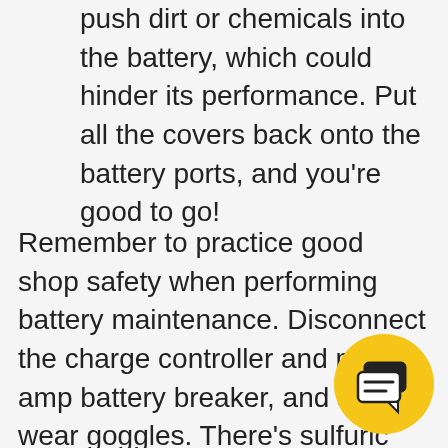push dirt or chemicals into the battery, which could hinder its performance. Put all the covers back onto the battery ports, and you're good to go!
Remember to practice good shop safety when performing battery maintenance. Disconnect the charge controller and main amp battery breaker, and always wear goggles. There's sulfuric acid in the battery, which makes it important to keep your eyes shielded. You should also wear gloves that are able to withstand exposure to this acid. Neoprene gloves are your best bet. If the acid comes into contact with your skin, you should stop what you're doing and wash it immediately to prevent acid burning.
[Figure (illustration): Yellow circular chat/messaging icon with two overlapping speech bubbles containing lines representing text]